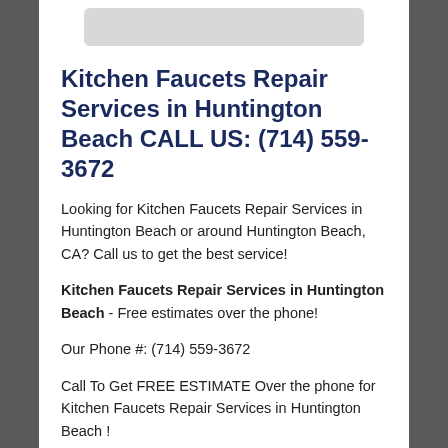[Figure (other): Gray rounded rectangle placeholder image at the top of the page]
Kitchen Faucets Repair Services in Huntington Beach CALL US: (714) 559-3672
Looking for Kitchen Faucets Repair Services in Huntington Beach or around Huntington Beach, CA? Call us to get the best service!
Kitchen Faucets Repair Services in Huntington Beach - Free estimates over the phone!
Our Phone #: (714) 559-3672
Call To Get FREE ESTIMATE Over the phone for Kitchen Faucets Repair Services in Huntington Beach !